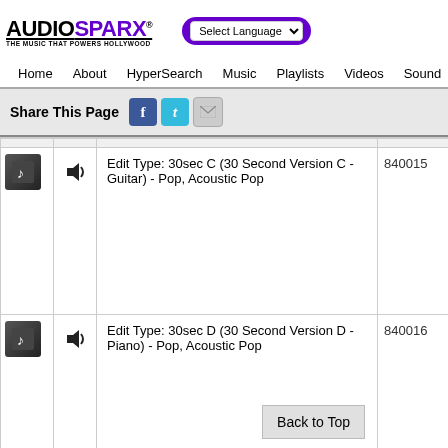[Figure (logo): AudioSparx logo with tagline THE MUSIC THAT POWERS HOLLYWOOD]
Select Language (dropdown)
Home  About  HyperSearch  Music  Playlists  Videos  Sound
Share This Page
|  |  | Description | ID |
| --- | --- | --- | --- |
| [music icon] | [speaker icon] | Edit Type: 30sec C (30 Second Version C - Guitar) - Pop, Acoustic Pop | 840015 |
| [music icon] | [speaker icon] | Edit Type: 30sec D (30 Second Version D - Piano) - Pop, Acoustic Pop | 840016 |
Back to Top